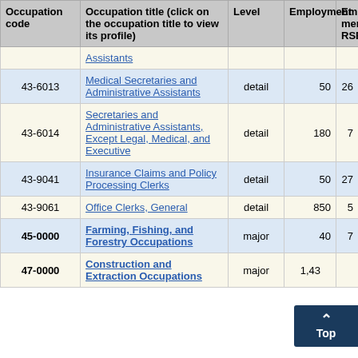| Occupation code | Occupation title (click on the occupation title to view its profile) | Level | Employment | Employment RSE |
| --- | --- | --- | --- | --- |
|  | Assistants |  |  |  |
| 43-6013 | Medical Secretaries and Administrative Assistants | detail | 50 | 26 |
| 43-6014 | Secretaries and Administrative Assistants, Except Legal, Medical, and Executive | detail | 180 | 7 |
| 43-9041 | Insurance Claims and Policy Processing Clerks | detail | 50 | 27 |
| 43-9061 | Office Clerks, General | detail | 850 | 5 |
| 45-0000 | Farming, Fishing, and Forestry Occupations | major | 40 | 7 |
| 47-0000 | Construction and Extraction Occupations | major | 1,43 |  |